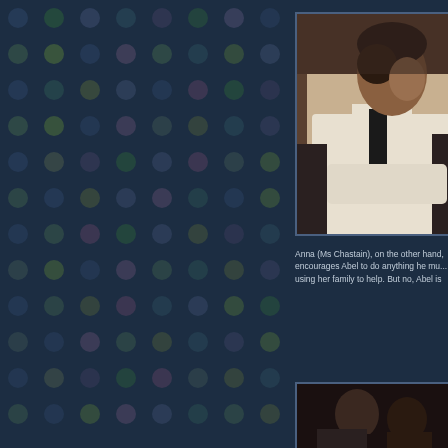[Figure (photo): A man in a white shirt leaning forward, profile/three-quarter view, dark hair, against a blurred interior background.]
Anna (Ms Chastain), on the other hand, encourages Abel to do anything he mu... using her family to help. But no, Abel is
[Figure (photo): Partial view of figures in a dark setting, lower portion of image.]